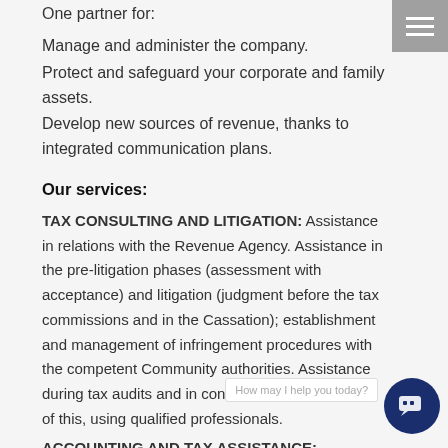One partner for:
Manage and administer the company.
Protect and safeguard your corporate and family assets.
Develop new sources of revenue, thanks to integrated communication plans.
Our services:
TAX CONSULTING AND LITIGATION: Assistance in relations with the Revenue Agency. Assistance in the pre-litigation phases (assessment with acceptance) and litigation (judgment before the tax commissions and in the Cassation); establishment and management of infringement procedures with the competent Community authorities. Assistance during tax audits and in conciliation procedures. All of this, using qualified professionals.
ACCOUNTING AND TAX ASSISTANCE: Assistance in